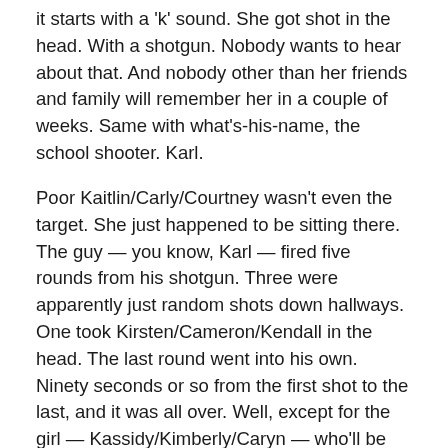it starts with a 'k' sound. She got shot in the head. With a shotgun. Nobody wants to hear about that. And nobody other than her friends and family will remember her in a couple of weeks. Same with what's-his-name, the school shooter. Karl.
Poor Kaitlin/Carly/Courtney wasn't even the target. She just happened to be sitting there. The guy — you know, Karl — fired five rounds from his shotgun. Three were apparently just random shots down hallways. One took Kirsten/Cameron/Kendall in the head. The last round went into his own. Ninety seconds or so from the first shot to the last, and it was all over. Well, except for the girl — Kassidy/Kimberly/Caryn — who'll be fucked up for the rest of her life. However long that'll be.
The local sheriff said he believed what's-his-name…uh,